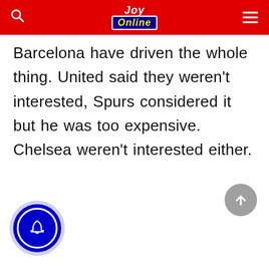Joy Online
Barcelona have driven the whole thing. United said they weren’t interested, Spurs considered it but he was too expensive. Chelsea weren’t interested either.